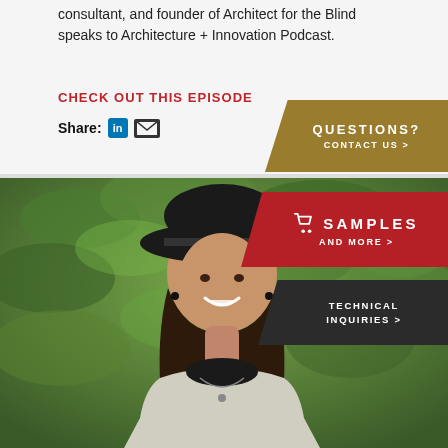consultant, and founder of Architect for the Blind speaks to Architecture + Innovation Podcast.
CHECK OUT THIS EPISODE
Share:
[Figure (photo): Portrait of a smiling woman wearing a black wide-brim hat and a light-colored blazer, with green foliage in the background]
QUESTIONS? CONTACT US >
SAMPLES AND MORE >
TECHNICAL INQUIRIES >